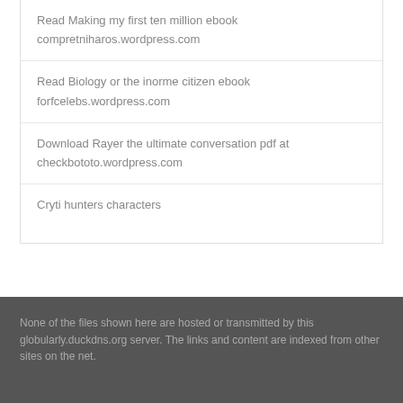Read Making my first ten million ebook
compretniharos.wordpress.com
Read Biology or the inorme citizen ebook
forfcelebs.wordpress.com
Download Rayer the ultimate conversation pdf at
checkbototo.wordpress.com
Cryti hunters characters
None of the files shown here are hosted or transmitted by this globularly.duckdns.org server. The links and content are indexed from other sites on the net.